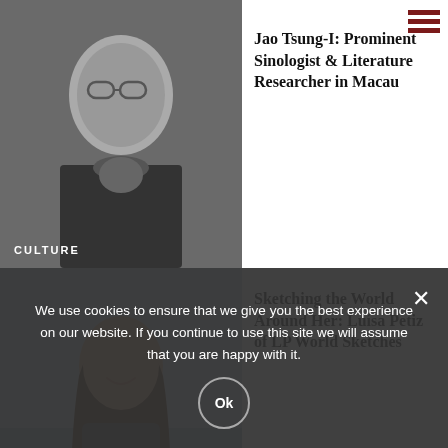[Figure (photo): Black and white photo of an elderly Asian man wearing glasses, suit and decorative scarf, with CULTURE label overlay]
Jao Tsung-I: Prominent Sinologist & Literature Researcher in Macau
[Figure (photo): Color photo of a young woman with long brown hair smiling, standing outdoors near water, with PEOPLE label overlay]
Sketching the World Around Her: Luísa Petiz of LP World Sketches
[Figure (photo): Partial blue banner/sign image at bottom of page]
Macau's Tap Seac Square
We use cookies to ensure that we give you the best experience on our website. If you continue to use this site we will assume that you are happy with it.